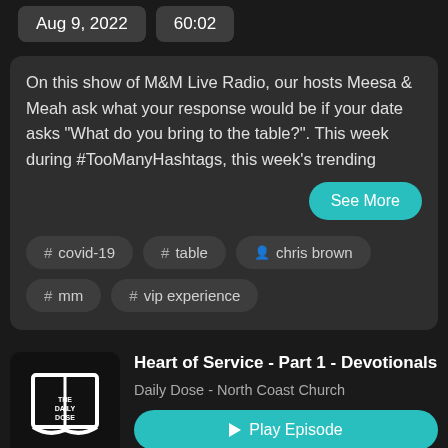Aug 9, 2022   60:02
On this show of M&M Live Radio, our hosts Meesa & Meah ask what your response would be if your date asks “What do you bring to the table?”. This week during #TooManyHashtags, this week’s trending
See More
# covid-19
# table
chris brown
# mm
# vip experience
[Figure (logo): The Daily Dose podcast logo — white open book icon on black background with text THE DAILY DOSE]
Heart of Service - Part 1 - Devotionals
Daily Dose - North Coast Church
Play Episode